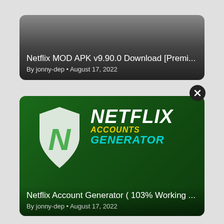[Figure (screenshot): Card 1: Dark gradient card showing Netflix MOD APK article thumbnail with title and author/date metadata]
Netflix MOD APK v9.90.0 Download [Premi...
By jonny-dep • August 17, 2022
[Figure (screenshot): Card 2: Green background card with Netflix logo shield (white shield with green N), NETFLIX ACCOUNTS GENERATOR text in white/yellow/cyan, showing Netflix Account Generator article]
Netflix Account Generator ( 103% Working ...
By jonny-dep • August 17, 2022